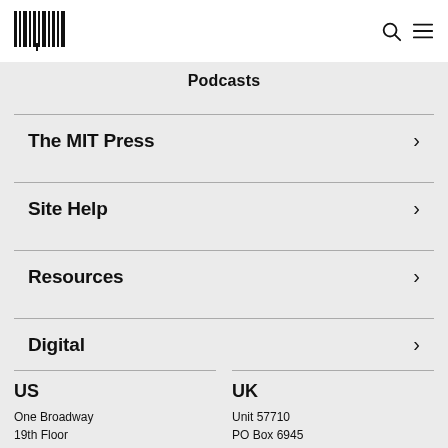MIT Press logo, search icon, menu icon
Podcasts
The MIT Press
Site Help
Resources
Digital
US
One Broadway
19th Floor
UK
Unit 57710
PO Box 6945